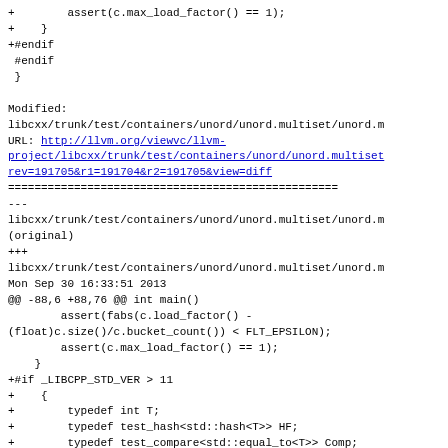Code diff showing modifications to libcxx/trunk/test/containers/unord/unord.multiset with added code for _LIBCPP_STD_VER > 11